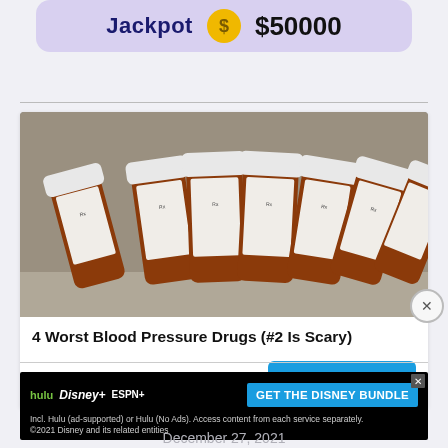[Figure (screenshot): Jackpot banner with coin icon showing $50000]
[Figure (photo): Seven amber prescription pill bottles with white caps and labels, laid flat on a gray surface]
4 Worst Blood Pressure Drugs (#2 Is Scary)
Sponsored Ad
Watch The Video
[Figure (screenshot): Disney Bundle advertisement banner: hulu Disney+ ESPN+ GET THE DISNEY BUNDLE. Incl. Hulu (ad-supported) or Hulu (No Ads). Access content from each service separately. ©2021 Disney and its related entities]
December 27, 2021